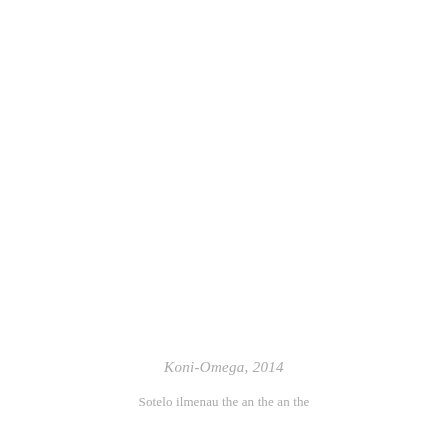Koni-Omega, 2014
Sotelo ilmenau the an the an the